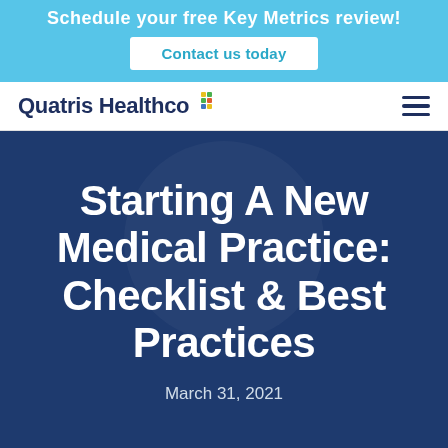Schedule your free Key Metrics review!
Contact us today
[Figure (logo): Quatris Healthco logo with colorful cross/plus symbol]
Starting A New Medical Practice: Checklist & Best Practices
March 31, 2021